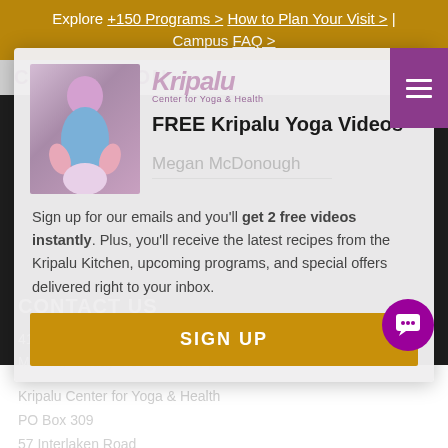Explore +150 Programs > How to Plan Your Visit > | Campus FAQ >
CONNECTION
FREE Kripalu Yoga Videos
Megan McDonough
Sign up for our emails and you'll get 2 free videos instantly. Plus, you'll receive the latest recipes from the Kripalu Kitchen, upcoming programs, and special offers delivered right to your inbox.
SIGN UP
CONTACT US
413.448.3152
Monday–Friday 9:00 am–5:00 pm EST
Kripalu Center for Yoga & Health
PO Box 309
57 Interlaken Road
Stockbridge, MA 01262